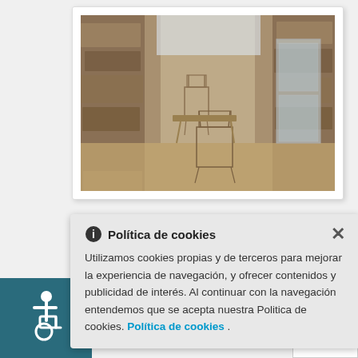[Figure (photo): Interior of a stone shelter or cave-like space with chairs and a glass cabinet visible, stone walls, dim lighting]
GUIDED TOURS to the exhibition and the air shelters of Séneca and Balmis.
Política de cookies
Utilizamos cookies propias y de terceros para mejorar la experiencia de navegación, y ofrecer contenidos y publicidad de interés. Al continuar con la navegación entendemos que se acepta nuestra Politica de cookies. Política de cookies .
[Figure (illustration): Wheelchair accessibility icon in white on teal/dark cyan background]
[Figure (other): reCAPTCHA logo and privacy-terms text]